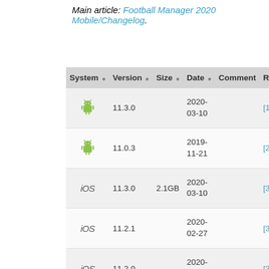Main article: Football Manager 2020 Mobile/Changelog.
| System | Version | Size | Date | Comment | Ref | Ic |
| --- | --- | --- | --- | --- | --- | --- |
| Android | 11.3.0 |  | 2020-03-10 |  | [1] |  |
| Android | 11.0.3 |  | 2019-11-21 |  | [2] |  |
| iOS | 11.3.0 | 2.1GB | 2020-03-10 |  | [3] |  |
| iOS | 11.2.1 |  | 2020-02-27 |  | [3] |  |
| iOS | 11.2.0 |  | 2020-02-24 |  | [3] |  |
| iOS | 11.1.1 |  | 2020-01-15 |  | [3] |  |
| iOS | 11.1.0 |  | 2019-12-10 |  | [3] |  |